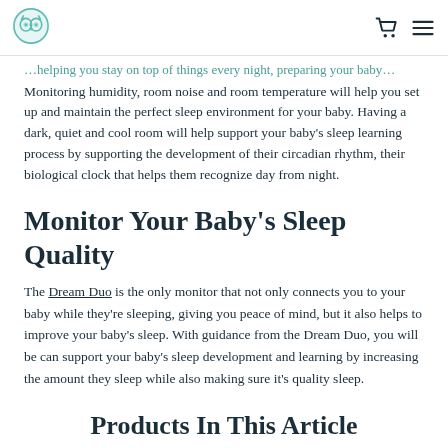[Logo] [Cart icon] [Menu icon]
Monitoring humidity, room noise and room temperature will help you set up and maintain the perfect sleep environment for your baby. Having a dark, quiet and cool room will help support your baby's sleep learning process by supporting the development of their circadian rhythm, their biological clock that helps them recognize day from night.
Monitor Your Baby's Sleep Quality
The Dream Duo is the only monitor that not only connects you to your baby while they're sleeping, giving you peace of mind, but it also helps to improve your baby's sleep. With guidance from the Dream Duo, you will be can support your baby's sleep development and learning by increasing the amount they sleep while also making sure it's quality sleep.
Products In This Article